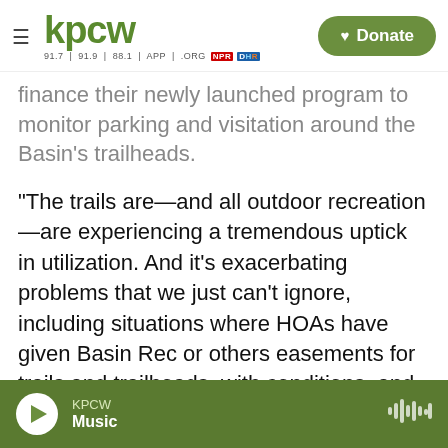KPCW — 91.7 | 91.9 | 88.1 | APP | .ORG | NPR | DHR — Donate
finance their newly launched program to monitor parking and visitation around the Basin's trailheads.
“The trails are—and all outdoor recreation—are experiencing a tremendous uptick in utilization. And it’s exacerbating problems that we just can’t ignore, including situations where HOAs have given Basin Rec or others easements for trails and trailheads, with conditions, and when it just becomes a complete nuisance to those neighborhoods and they have legal recourse to take the trails back or those easements back, it’s
KPCW — Music (player bar)